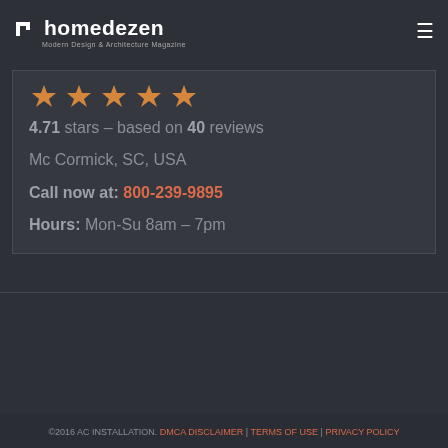homedezen — Modern Design & Architecture Magazine
[Figure (illustration): Five orange/gold star rating icons arranged in a row]
4.71 stars – based on 40 reviews
Mc Cormick, SC, USA
Call now at: 800-239-9895
Hours: Mon-Su 8am – 7pm
©2016 AC INSTALLATION. DMCA DISCLAIMER | TERMS OF USE | PRIVACY POLICY